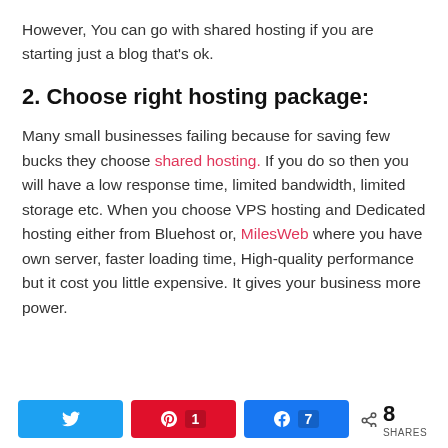However, You can go with shared hosting if you are starting just a blog that's ok.
2. Choose right hosting package:
Many small businesses failing because for saving few bucks they choose shared hosting. If you do so then you will have a low response time, limited bandwidth, limited storage etc. When you choose VPS hosting and Dedicated hosting either from Bluehost or, MilesWeb where you have own server, faster loading time, High-quality performance but it cost you little expensive. It gives your business more power.
[Figure (infographic): Social share bar with Twitter button, Pinterest button showing count 1, Facebook button showing count 7, and total shares count of 8]